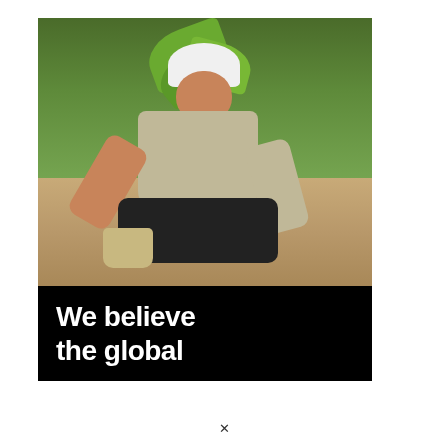[Figure (photo): A man wearing a white hard hat and vest crouches down to plant a young sapling in sandy ground. He is smiling at the camera. Green trees are visible in the background. The photo has a black banner overlay at the bottom with bold white text reading 'We believe the global' with additional text partially cut off.]
We believe the global